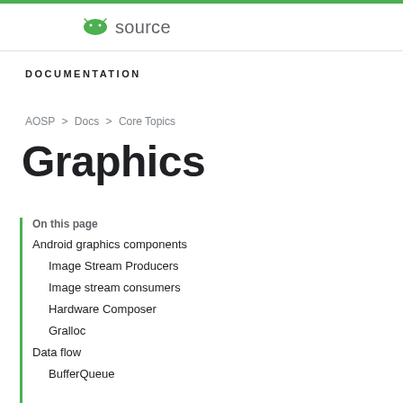Android source
DOCUMENTATION
AOSP > Docs > Core Topics
Graphics
On this page
Android graphics components
Image Stream Producers
Image stream consumers
Hardware Composer
Gralloc
Data flow
BufferQueue